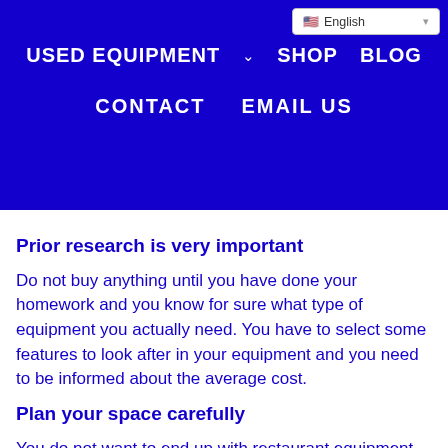USED EQUIPMENT  SHOP  BLOG  CONTACT  EMAIL US
Prior research is very important
Do not buy anything until you have done your homework and you know for sure what type of equipment you actually need. You have to select some features to look after in your equipment and you need to be informed about the average cost.
Plan your space carefully
You do not want to end up with restaurant equipment that will not fit in your available space, because you will simply waste money on it. Measure everything two times.